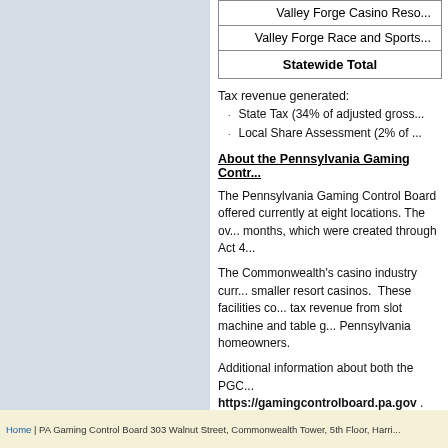|  |
| --- |
| Valley Forge Casino Resort |
| Valley Forge Race and Sports |
| Statewide Total |
Tax revenue generated:
State Tax (34% of adjusted gross...
Local Share Assessment (2% of...
About the Pennsylvania Gaming Control Board
The Pennsylvania Gaming Control Board offered currently at eight locations. The over months, which were created through Act 4...
The Commonwealth's casino industry currently smaller resort casinos. These facilities contribute tax revenue from slot machine and table game Pennsylvania homeowners.
Additional information about both the PGCB https://gamingcontrolboard.pa.gov . Yo...
Home | PA Gaming Control Board 303 Walnut Street, Commonwealth Tower, 5th Floor, Harrisburg...